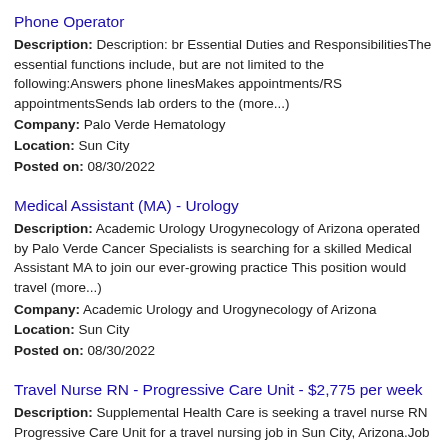Phone Operator
Description: Description: br Essential Duties and ResponsibilitiesThe essential functions include, but are not limited to the following:Answers phone linesMakes appointments/RS appointmentsSends lab orders to the (more...)
Company: Palo Verde Hematology
Location: Sun City
Posted on: 08/30/2022
Medical Assistant (MA) - Urology
Description: Academic Urology Urogynecology of Arizona operated by Palo Verde Cancer Specialists is searching for a skilled Medical Assistant MA to join our ever-growing practice This position would travel (more...)
Company: Academic Urology and Urogynecology of Arizona
Location: Sun City
Posted on: 08/30/2022
Travel Nurse RN - Progressive Care Unit - $2,775 per week
Description: Supplemental Health Care is seeking a travel nurse RN Progressive Care Unit for a travel nursing job in Sun City, Arizona.Job Description Requirements ul li Specialty: Progressive Care Unit li (more...)